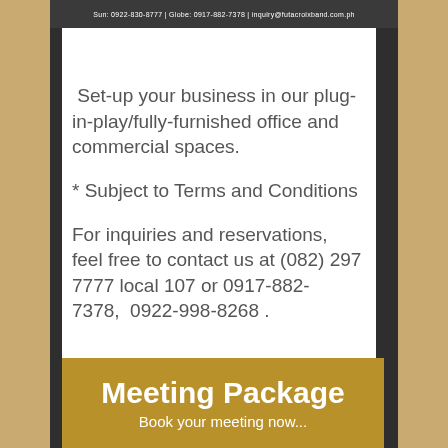Sun: 0922-830-8777 | Globe: 0917-882-7378 | inquiry@futacroixband.com.ph
Set-up your business in our plug-in-play/fully-furnished office and commercial spaces.
* Subject to Terms and Conditions
For inquiries and reservations, feel free to contact us at (082) 297 7777 local 107 or 0917-882-7378,  0922-998-8268 .
Meeting Package
Book your meeting now...